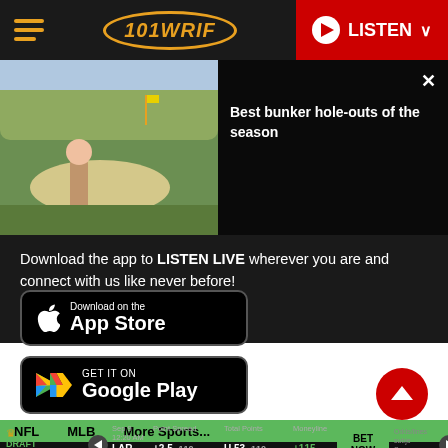101 WRIF — LISTEN
[Figure (screenshot): Golf video thumbnail showing a golfer in a sand bunker, with title panel 'Best bunker hole-outs of the season' and close X button]
Download the app to LISTEN LIVE wherever you are and connect with us like never before!
[Figure (illustration): Download on the App Store button]
[Figure (illustration): GET IT ON Google Play button]
NFL  MLB  More Sports...
|  | Point Spread | Total Points | Moneyline |
| --- | --- | --- | --- |
| LAR | +2.5 -110 | U 53 -110 | +115 |
| BUF | -2.5 -110 | O 53 -110 | -135 |